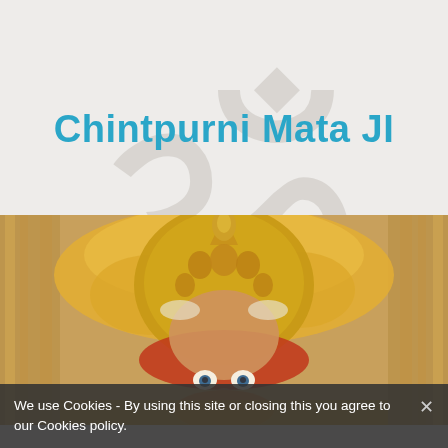[Figure (illustration): Large Om (ॐ) symbol watermark in light gray on a light beige/gray textured background, spanning the upper portion of the page]
Chintpurni Mata JI
[Figure (photo): Close-up photograph of the idol of Chintpurni Mata JI, adorned with golden ornate crown/mukut, marigold flower garlands in yellow and orange, red decoration, and painted face with eyes. Framed by ornate golden pillars on both sides.]
We use Cookies - By using this site or closing this you agree to our Cookies policy.